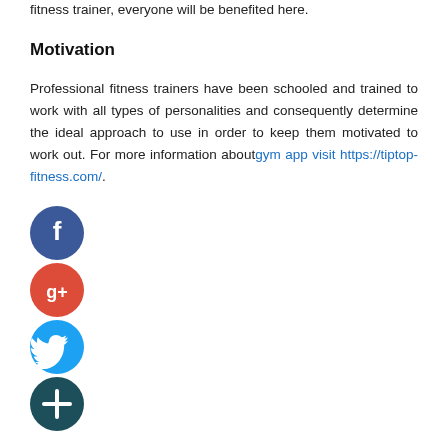fitness trainer, everyone will be benefited here.
Motivation
Professional fitness trainers have been schooled and trained to work with all types of personalities and consequently determine the ideal approach to use in order to keep them motivated to work out. For more information about gym app visit https://tiptop-fitness.com/.
[Figure (illustration): Social media share icons: Facebook (blue circle with f), Google+ (red circle with g+), Twitter (light blue circle with bird), and a dark teal/navy circle with plus sign.]